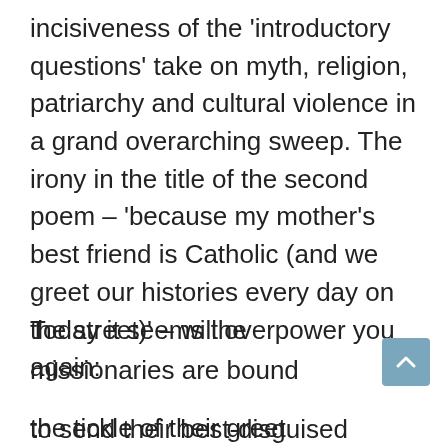incisiveness of the 'introductory questions' take on myth, religion, patriarchy and cultural violence in a grand overarching sweep. The irony in the title of the second poem – 'because my mother's best friend is Catholic (and we greet our histories every day on the street)' – will overpower you again:
Today it seems the missionaries are bound
to send their best-disguised recruit –
the tickle of their greet... (cut off)